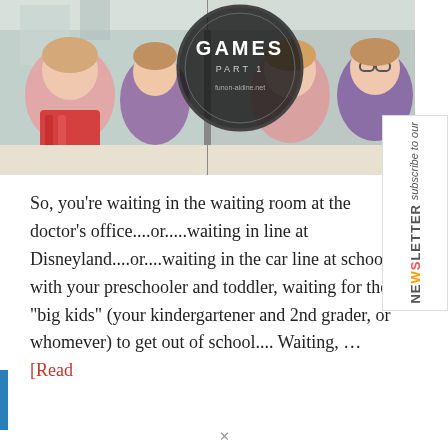[Figure (photo): Photo of three girls sitting at a restaurant/diner booth, laughing and smiling. A circular dark overlay in the upper center reads 'GAMES PART 1' with a website URL. The photo appears split or mirrored showing the same scene from two angles.]
So, you're waiting in the waiting room at the doctor's office....or.....waiting in line at Disneyland....or....waiting in the car line at school with your preschooler and toddler, waiting for the "big kids" (your kindergartener and 2nd grader, or whomever) to get out of school.... Waiting, … [Read